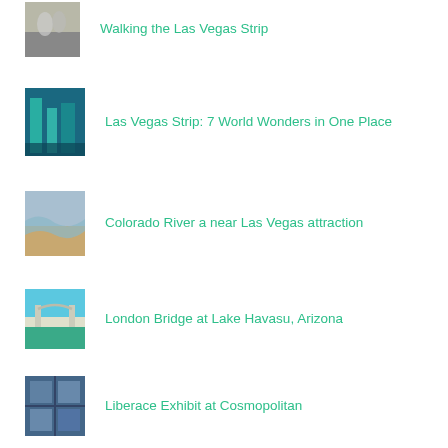Walking the Las Vegas Strip
Las Vegas Strip: 7 World Wonders in One Place
Colorado River a near Las Vegas attraction
London Bridge at Lake Havasu, Arizona
Liberace Exhibit at Cosmopolitan
Archives
Select Month